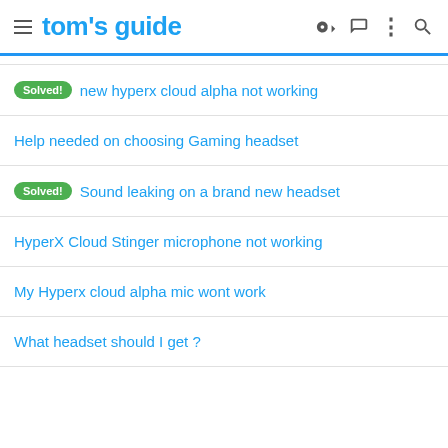tom's guide
Solved! new hyperx cloud alpha not working
Help needed on choosing Gaming headset
Solved! Sound leaking on a brand new headset
HyperX Cloud Stinger microphone not working
My Hyperx cloud alpha mic wont work
What headset should I get ?